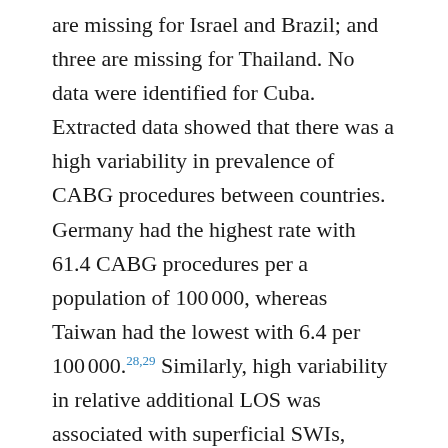are missing for Israel and Brazil; and three are missing for Thailand. No data were identified for Cuba. Extracted data showed that there was a high variability in prevalence of CABG procedures between countries. Germany had the highest rate with 61.4 CABG procedures per a population of 100000, whereas Taiwan had the lowest with 6.4 per 100000.28,29 Similarly, high variability in relative additional LOS was associated with superficial SWIs, ranging from 2 days in Spain to 49 days in Japan.28,30 The prevalence of deep sternal wounds, which impacted LOS and readmission rates, ranged between 3.4% (the Netherlands) and